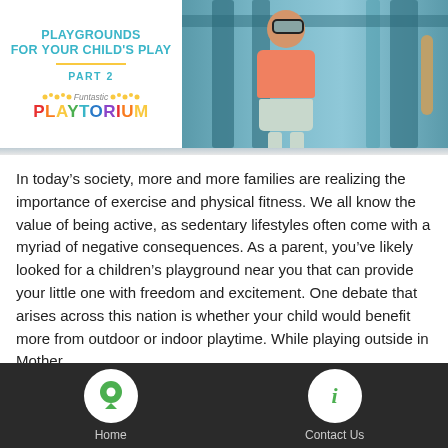PLAYGROUNDS FOR YOUR CHILD'S PLAY PART 2
[Figure (logo): Funtastic Playtorium logo with colorful text]
[Figure (photo): Child sitting on playground equipment, wearing pink jacket and sunglasses]
In today’s society, more and more families are realizing the importance of exercise and physical fitness. We all know the value of being active, as sedentary lifestyles often come with a myriad of negative consequences. As a parent, you’ve likely looked for a children’s playground near you that can provide your little one with freedom and excitement. One debate that arises across this nation is whether your child would benefit more from outdoor or indoor playtime. While playing outside in Mother
Home    Contact Us